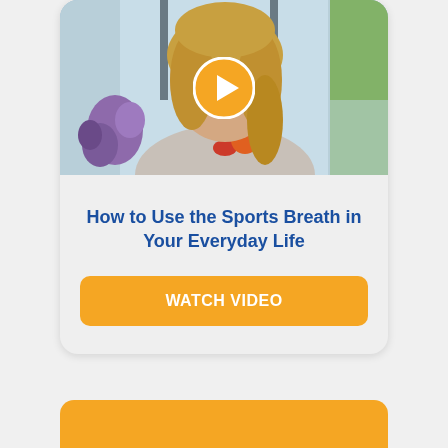[Figure (photo): Video thumbnail showing a blonde woman smiling, with a play button overlay. She is wearing a light patterned top and there are flowers and windows visible in the background.]
How to Use the Sports Breath in Your Everyday Life
WATCH VIDEO